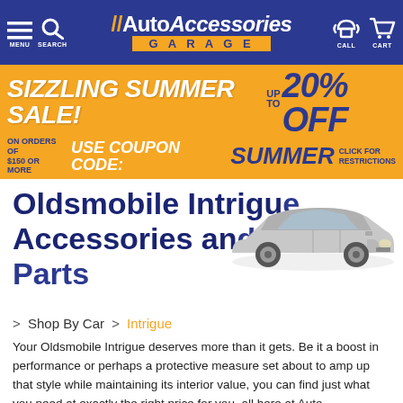[Figure (screenshot): AutoAccessories Garage website navigation header with logo on dark blue background, menu/search icons on left, call/cart icons on right]
[Figure (infographic): Orange banner ad: SIZZLING SUMMER SALE! UP TO 20% OFF. ON ORDERS OF $150 OR MORE USE COUPON CODE: SUMMER CLICK FOR RESTRICTIONS]
Oldsmobile Intrigue Accessories and Custom Parts
[Figure (photo): Silver Oldsmobile Intrigue sedan car photo, side view]
> Shop By Car > Intrigue
Your Oldsmobile Intrigue deserves more than it gets. Be it a boost in performance or perhaps a protective measure set about to amp up that style while maintaining its interior value, you can find just what you need at exactly the right price for you, all here at Auto Accessories Garage. We only carry the leading name-brands in Intrigue parts and accessories and only offer them for the most competitive prices around! Don't believe us? Check out our best in